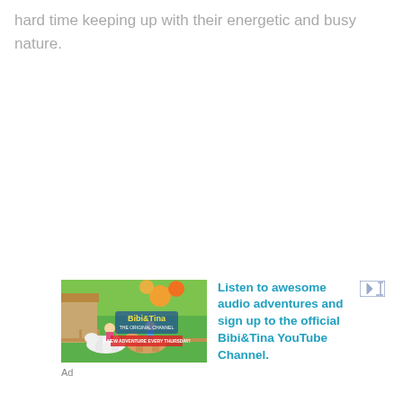hard time keeping up with their energetic and busy nature.
[Figure (illustration): Bibi & Tina animated show advertisement image showing two girls on horses with colorful background]
Ad